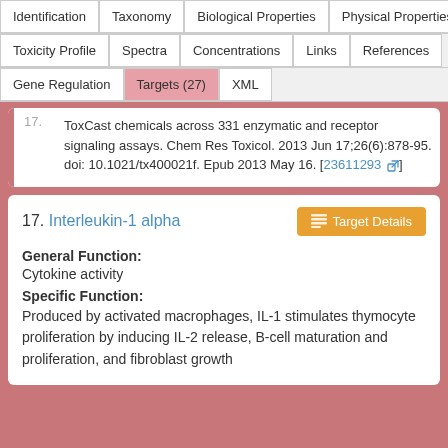| Identification | Taxonomy | Biological Properties | Physical Properties |
| --- | --- | --- | --- |
| Toxicity Profile | Spectra | Concentrations | Links | References |
| Gene Regulation | Targets (27) | XML |
ToxCast chemicals across 331 enzymatic and receptor signaling assays. Chem Res Toxicol. 2013 Jun 17;26(6):878-95. doi: 10.1021/tx400021f. Epub 2013 May 16. [23611293]
17. Interleukin-1 alpha
General Function:
Cytokine activity
Specific Function:
Produced by activated macrophages, IL-1 stimulates thymocyte proliferation by inducing IL-2 release, B-cell maturation and proliferation, and fibroblast growth